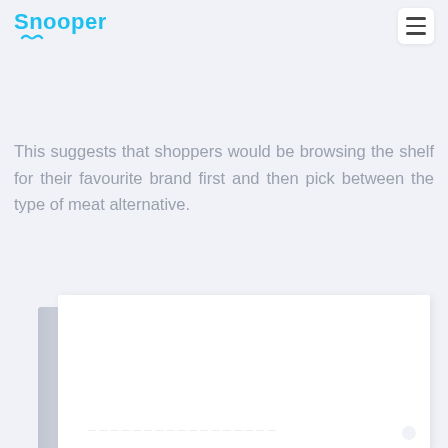Snooper
meat alternatives (are 4 made up brands within the brand blocking rather than type of meat alternative (see Photo C).
This suggests that shoppers would be browsing the shelf for their favourite brand first and then pick between the type of meat alternative.
[Figure (photo): A white card or document shown with a shadowed left edge, positioned in the lower portion of the page against a light blue-grey background. The card appears blank/white.]